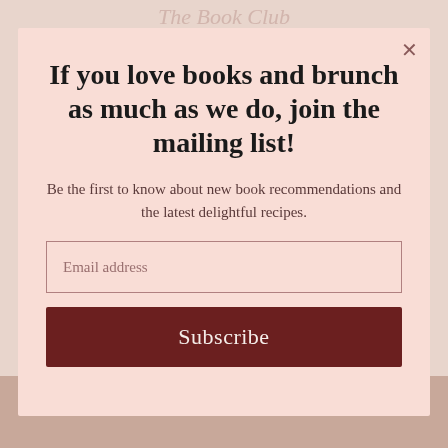If you love books and brunch as much as we do, join the mailing list!
Be the first to know about new book recommendations and the latest delightful recipes.
Email address
Subscribe